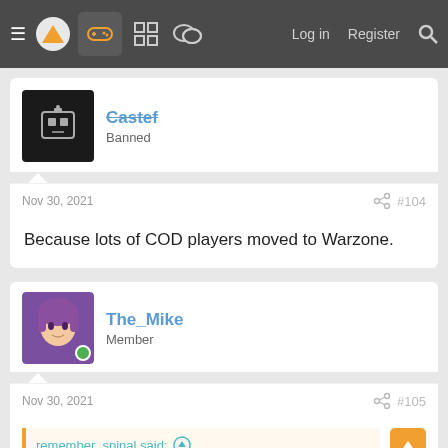≡ [logo] [gamepad] [grid] [chat] Log in Register 🔍
Castef
Banned
Nov 30, 2021  #104
Because lots of COD players moved to Warzone.
The_Mike
Member
Nov 30, 2021  #105
remember_spinal said:
Why does everyone ignore how big Warzone is?
Literally everyone of my friends who were annual CoD buyers exclusively play Warzone now. They are all just waiting for the new